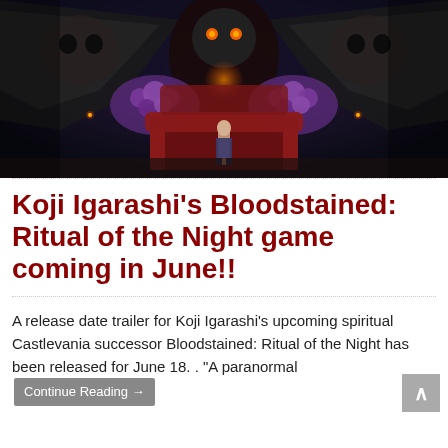[Figure (screenshot): Dark fantasy game screenshot showing a large winged demon/boss creature with glowing orange eyes, flanked by skulls, with purple flowers/decorations and a red throne/couch in the center foreground, and a small character standing in front of it. The scene has a dark gothic atmosphere.]
Koji Igarashi's Bloodstained: Ritual of the Night game coming in June!!
A release date trailer for Koji Igarashi's upcoming spiritual Castlevania successor Bloodstained: Ritual of the Night has been released for June 18. . "A paranormal  Continue Reading →